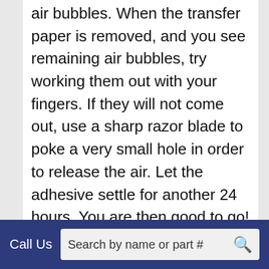air bubbles. When the transfer paper is removed, and you see remaining air bubbles, try working them out with your fingers. If they will not come out, use a sharp razor blade to poke a very small hole in order to release the air. Let the adhesive settle for another 24 hours. You are then good to go! Thanks!
Jake
Answer by: Jake Doro on May 18, 2021, 1:36 PM
Call Us  Search by name or part #